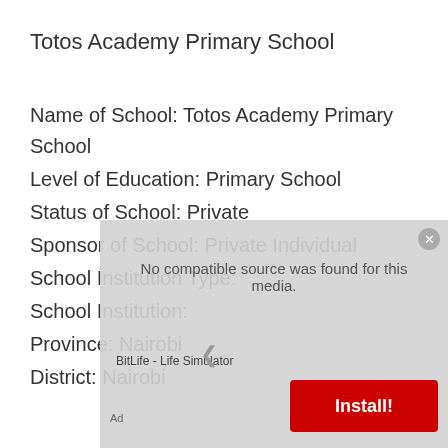Totos Academy Primary School
Name of School: Totos Academy Primary School
Level of Education: Primary School
Status of School: Private
Sponsor of School: Private Individual
School Institution Type:
School Institution:
Province: Nairobi
District: Nairobi